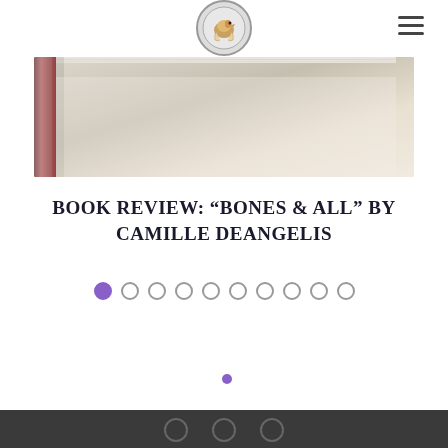Our Hen House logo and hamburger menu
[Figure (photo): Close-up of a book with cream/tan cover and red spine resting on a white surface, viewed from corner angle]
BOOK REVIEW: “BONES & ALL” BY CAMILLE DEANGELIS
[Figure (other): Pagination dots: 10 circles, first one filled purple (active), rest empty outlines]
[Figure (other): Single small purple dot navigation indicator]
Dark footer bar with social media icons